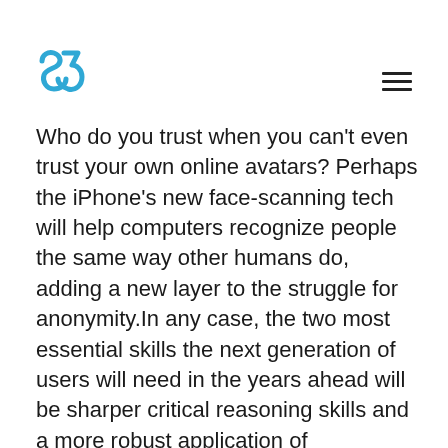[Logo: S5] [hamburger menu icon]
Who do you trust when you can't even trust your own online avatars? Perhaps the iPhone's new face-scanning tech will help computers recognize people the same way other humans do, adding a new layer to the struggle for anonymity.In any case, the two most essential skills the next generation of users will need in the years ahead will be sharper critical reasoning skills and a more robust application of skepticism.The first step is to acknowledge that ratings everywhere are dominated by five stars and one stars. Reviews are inherently emotional and people who don't